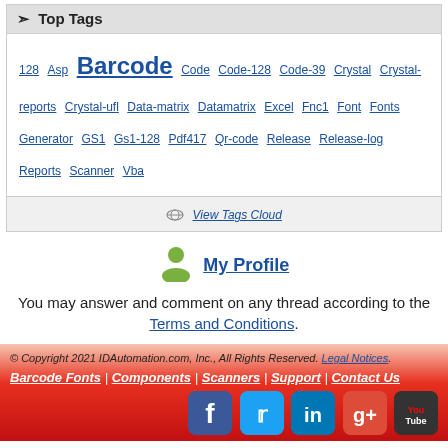Top Tags
128 Asp Barcode Code Code-128 Code-39 Crystal Crystal-reports Crystal-ufl Data-matrix Datamatrix Excel Fnc1 Font Fonts Generator GS1 Gs1-128 Pdf417 Qr-code Release Release-log Reports Scanner Vba
View Tags Cloud
My Profile
You may answer and comment on any thread according to the Terms and Conditions.
© Copyright 2021 IDAutomation.com, Inc., All Rights Reserved. Legal Notices.
Barcode Fonts | Components | Scanners | Support | Contact Us